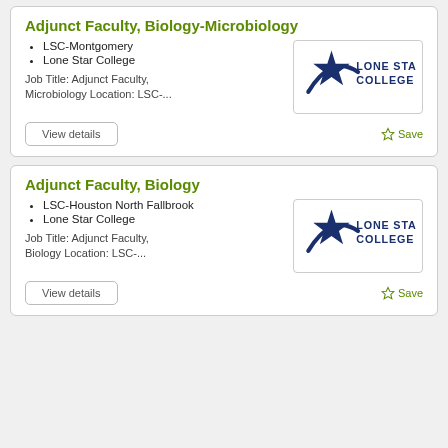Adjunct Faculty, Biology-Microbiology
LSC-Montgomery
Lone Star College
Job Title: Adjunct Faculty, Microbiology Location: LSC-...
[Figure (logo): Lone Star College logo with star and text]
Adjunct Faculty, Biology
LSC-Houston North Fallbrook
Lone Star College
Job Title: Adjunct Faculty, Biology Location: LSC-...
[Figure (logo): Lone Star College logo with star and text]